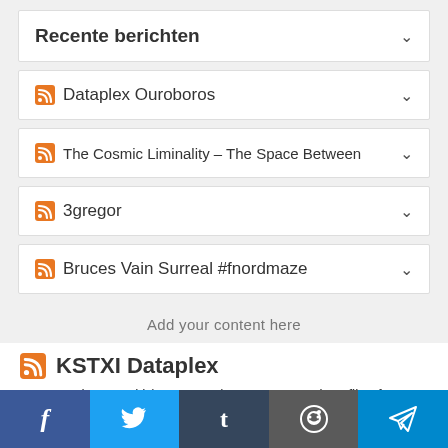Recente berichten
Dataplex Ouroboros
The Cosmic Liminality – The Space Between
3gregor
Bruces Vain Surreal #fnordmaze
Add your content here
KSTXI Dataplex
Jean Lambert-Rucki (1888-1967) — Woman and Profile of a Man in...
submitted by /u/minimalista [link] [comments]
#Tesla #sucks
Facebook | Twitter | Tumblr | Reddit | Telegram